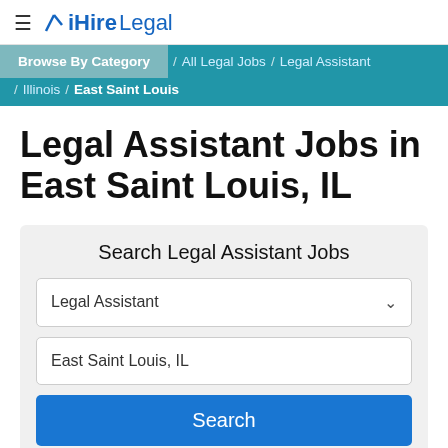≡ iHireLegal
Browse By Category / All Legal Jobs / Legal Assistant / Illinois / East Saint Louis
Legal Assistant Jobs in East Saint Louis, IL
Search Legal Assistant Jobs
Legal Assistant
East Saint Louis, IL
Search